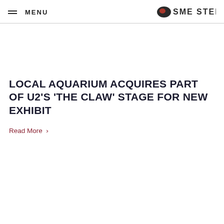MENU  SME STEEL
LOCAL AQUARIUM ACQUIRES PART OF U2'S 'THE CLAW' STAGE FOR NEW EXHIBIT
Read More >